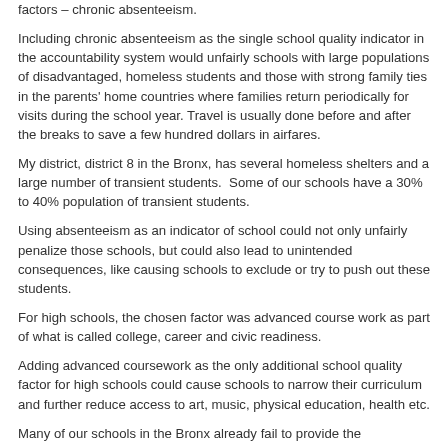factors – chronic absenteeism.
Including chronic absenteeism as the single school quality indicator in the accountability system would unfairly schools with large populations of disadvantaged, homeless students and those with strong family ties in the parents' home countries where families return periodically for visits during the school year. Travel is usually done before and after the breaks to save a few hundred dollars in airfares.
My district, district 8 in the Bronx, has several homeless shelters and a large number of transient students.  Some of our schools have a 30% to 40% population of transient students.
Using absenteeism as an indicator of school could not only unfairly penalize those schools, but could also lead to unintended consequences, like causing schools to exclude or try to push out these students.
For high schools, the chosen factor was advanced course work as part of what is called college, career and civic readiness.
Adding advanced coursework as the only additional school quality factor for high schools could cause schools to narrow their curriculum and further reduce access to art, music, physical education, health etc.
Many of our schools in the Bronx already fail to provide the